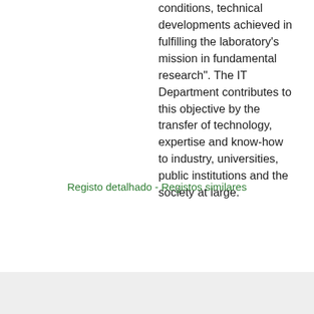conditions, technical developments achieved in fulfilling the laboratory's mission in fundamental research". The IT Department contributes to this objective by the transfer of technology, expertise and know-how to industry, universities, public institutions and the society at large.
Registo detalhado - Registos similares